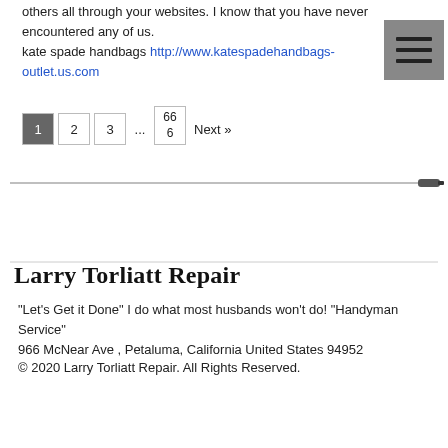others all through your websites. I know that you have never encountered any of us.
kate spade handbags http://www.katespadehandbags-outlet.us.com
[Figure (other): Hamburger menu icon button (three horizontal lines on grey background)]
1  2  3  ...  66/6  Next »
[Figure (other): Horizontal pencil/pen divider line across the page]
Larry Torliatt Repair
"Let's Get it Done" I do what most husbands won't do! "Handyman Service"
966 McNear Ave , Petaluma, California United States 94952
© 2020 Larry Torliatt Repair. All Rights Reserved.